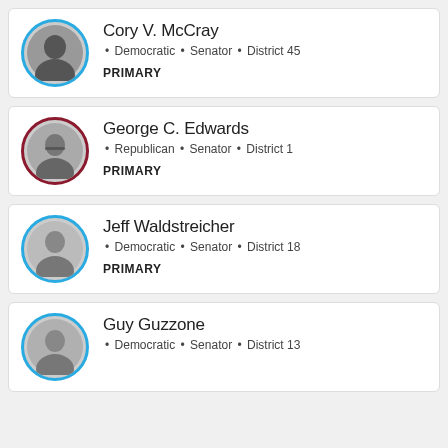Cory V. McCray · Democratic · Senator · District 45 · PRIMARY
George C. Edwards · Republican · Senator · District 1 · PRIMARY
Jeff Waldstreicher · Democratic · Senator · District 18 · PRIMARY
Guy Guzzone · Democratic · Senator · District 13